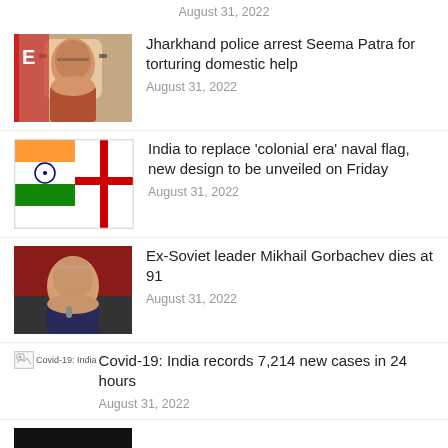August 31, 2022
[Figure (photo): Photo of a woman with glasses]
Jharkhand police arrest Seema Patra for torturing domestic help
August 31, 2022
[Figure (illustration): Indian naval flag with saffron, white, green stripes and red cross on white background]
India to replace 'colonial era' naval flag, new design to be unveiled on Friday
August 31, 2022
[Figure (photo): Photo of Mikhail Gorbachev speaking at a podium]
Ex-Soviet leader Mikhail Gorbachev dies at 91
August 31, 2022
[Figure (photo): Broken image thumbnail for Covid-19 India article]
Covid-19: India records 7,214 new cases in 24 hours
August 31, 2022
[Figure (photo): Black bar at bottom of page suggesting another article thumbnail]